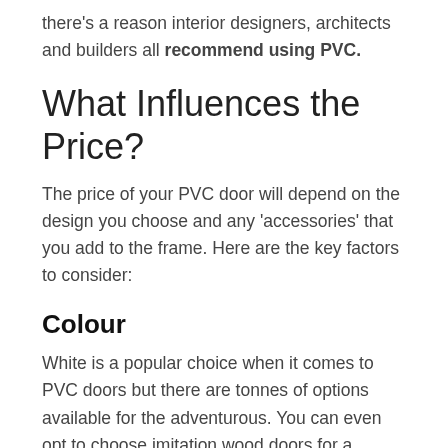there's a reason interior designers, architects and builders all recommend using PVC.
What Influences the Price?
The price of your PVC door will depend on the design you choose and any 'accessories' that you add to the frame. Here are the key factors to consider:
Colour
White is a popular choice when it comes to PVC doors but there are tonnes of options available for the adventurous. You can even opt to choose imitation wood doors for a natural look.